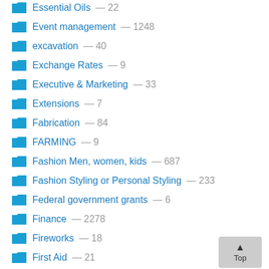Essential Oils — 22
Event management — 1248
excavation — 40
Exchange Rates — 9
Executive & Marketing — 33
Extensions — 7
Fabrication — 84
FARMING — 9
Fashion Men, women, kids — 687
Fashion Styling or Personal Styling — 233
Federal government grants — 6
Finance — 2278
Fireworks — 18
First Aid — 21
First Aid Training — 76